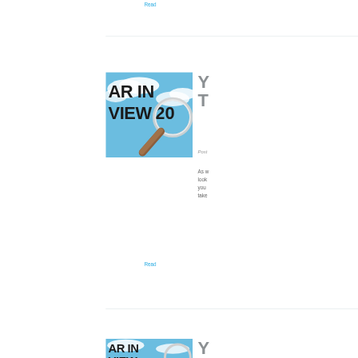Read
[Figure (illustration): Year in Review thumbnail image showing text 'AR IN VIEW 20' with a magnifying glass on a blue cloudy sky background]
Yo To
Post
As w look you take
Read
[Figure (illustration): Second Year in Review thumbnail image showing text 'AR IN VIEW' with magnifying glass on blue sky background]